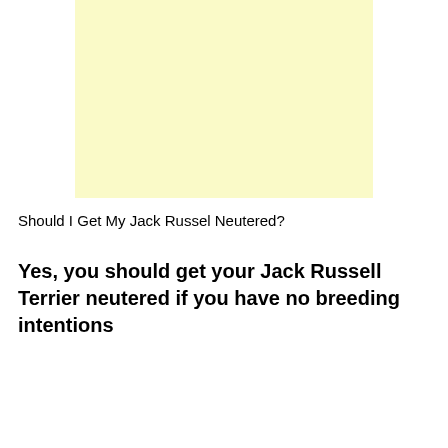[Figure (other): A large light yellow/cream colored rectangle placeholder image area]
Should I Get My Jack Russel Neutered?
Yes, you should get your Jack Russell Terrier neutered if you have no breeding intentions